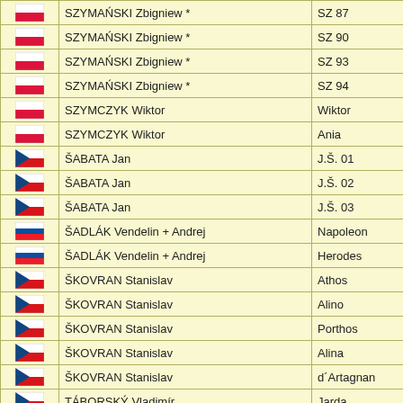| Flag | Name | Code |
| --- | --- | --- |
| PL | SZYMAŃSKI Zbigniew * | SZ 87 |
| PL | SZYMAŃSKI Zbigniew * | SZ 90 |
| PL | SZYMAŃSKI Zbigniew * | SZ 93 |
| PL | SZYMAŃSKI Zbigniew * | SZ 94 |
| PL | SZYMCZYK Wiktor | Wiktor |
| PL | SZYMCZYK Wiktor | Ania |
| CZ | ŠABATA Jan | J.Š. 01 |
| CZ | ŠABATA Jan | J.Š. 02 |
| CZ | ŠABATA Jan | J.Š. 03 |
| SK | ŠADLÁK Vendelin + Andrej | Napoleon |
| SK | ŠADLÁK Vendelin + Andrej | Herodes |
| CZ | ŠKOVRAN Stanislav | Athos |
| CZ | ŠKOVRAN Stanislav | Alino |
| CZ | ŠKOVRAN Stanislav | Porthos |
| CZ | ŠKOVRAN Stanislav | Alina |
| CZ | ŠKOVRAN Stanislav | d´Artagnan |
| CZ | TÁBORSKÝ Vladimír | Jarda |
| CZ | TÁBORSKÝ Vladimír | Zdeněk |
| CZ | TÁBORSKÝ Vladimír | Radek |